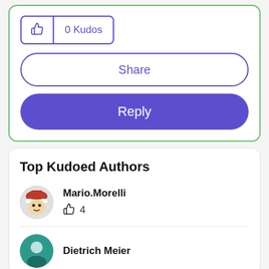[Figure (screenshot): Kudos button showing thumbs up icon and '0 Kudos' text]
Share
Reply
Top Kudoed Authors
Mario.Morelli
4
Dietrich Meier